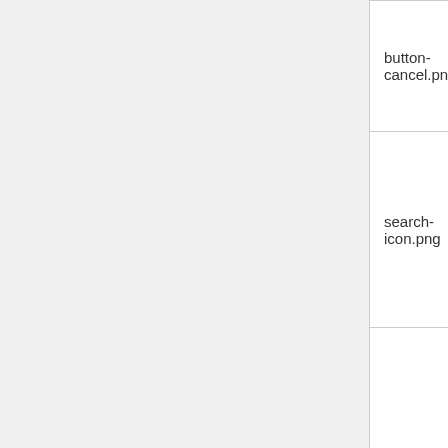| File | Preview |  |
| --- | --- | --- |
| button-cancel.png | [icon] |  |
| search-icon.png | [icon] |  |
| shadow.png | [image] |  |
Filemanager App
Files
Assets
Application Icon